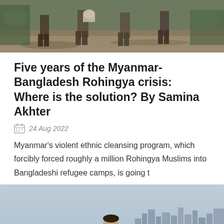[Figure (photo): Top portion of an outdoor photo showing people carrying items, muddy ground, partial crop of figures from chest down]
Five years of the Myanmar-Bangladesh Rohingya crisis: Where is the solution? By Samina Akhter
24 Aug 2022
Myanmar's violent ethnic cleansing program, which forcibly forced roughly a million Rohingya Muslims into Bangladeshi refugee camps, is going t
[Figure (photo): A man standing on rocky waterfront with a city skyline visible in the hazy background across the water]